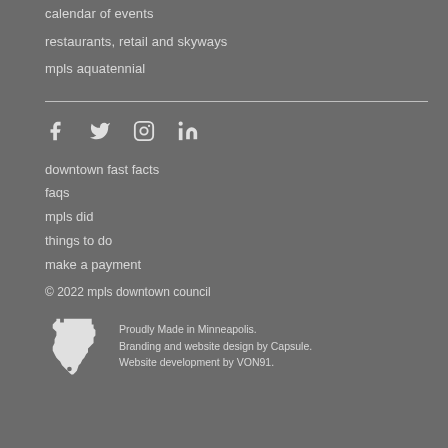calendar of events
restaurants, retail and skyways
mpls aquatennial
[Figure (infographic): Social media icons: Facebook, Twitter, Instagram, LinkedIn]
downtown fast facts
faqs
mpls did
things to do
make a payment
© 2022 mpls downtown council
Proudly Made in Minneapolis.
Branding and website design by Capsule.
Website development by VON91.